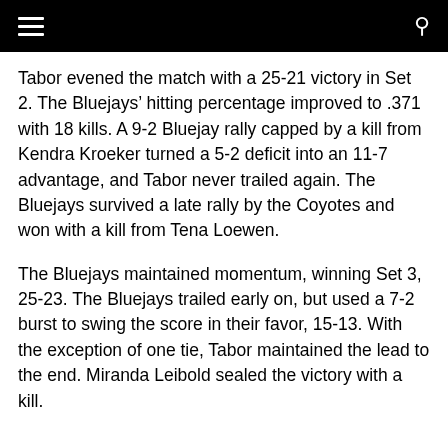Tabor evened the match with a 25-21 victory in Set 2. The Bluejays' hitting percentage improved to .371 with 18 kills. A 9-2 Bluejay rally capped by a kill from Kendra Kroeker turned a 5-2 deficit into an 11-7 advantage, and Tabor never trailed again. The Bluejays survived a late rally by the Coyotes and won with a kill from Tena Loewen.
The Bluejays maintained momentum, winning Set 3, 25-23. The Bluejays trailed early on, but used a 7-2 burst to swing the score in their favor, 15-13. With the exception of one tie, Tabor maintained the lead to the end. Miranda Leibold sealed the victory with a kill.